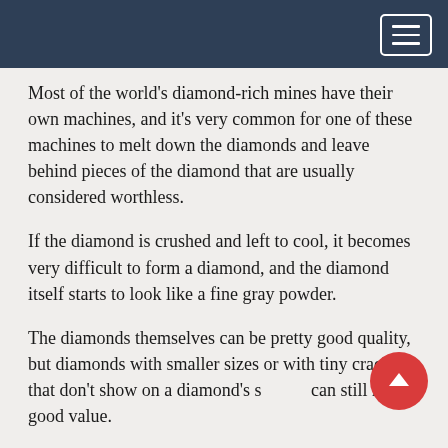Most of the world’s diamond-rich mines have their own machines, and it’s very common for one of these machines to melt down the diamonds and leave behind pieces of the diamond that are usually considered worthless.
If the diamond is crushed and left to cool, it becomes very difficult to form a diamond, and the diamond itself starts to look like a fine gray powder.
The diamonds themselves can be pretty good quality, but diamonds with smaller sizes or with tiny cracks that don’t show on a diamond’s s… can still have a good value.
Diamond rings are also known as “crystal